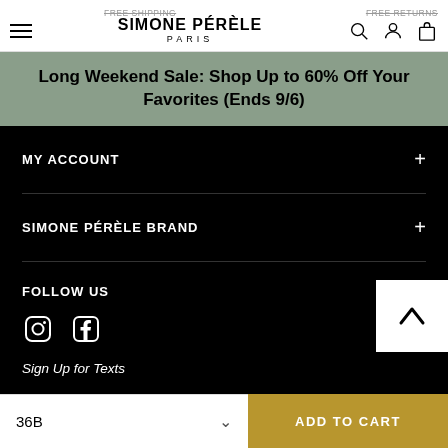FREE SHIPPING   SIMONE PÉRÈLE PARIS   FREE RETURNS
Long Weekend Sale: Shop Up to 60% Off Your Favorites (Ends 9/6)
MY ACCOUNT
SIMONE PÉRÈLE BRAND
FOLLOW US
[Figure (illustration): Instagram and Facebook social media icons in white on black background]
Sign Up for Texts
[Figure (illustration): Back to top chevron arrow button, white arrow on white square background]
36B   ADD TO CART